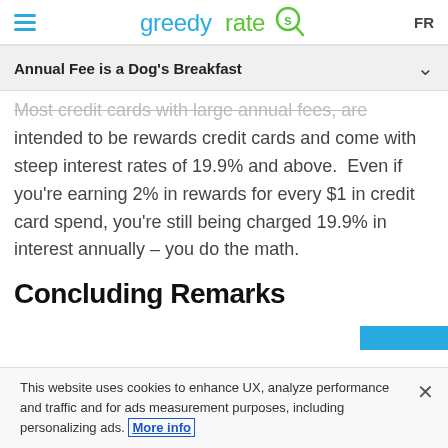greedyrates FR
Annual Fee is a Dog's Breakfast
Most credit cards with large annual fees, are intended to be rewards credit cards and come with steep interest rates of 19.9% and above. Even if you're earning 2% in rewards for every $1 in credit card spend, you're still being charged 19.9% in interest annually – you do the math.
Concluding Remarks
This website uses cookies to enhance UX, analyze performance and traffic and for ads measurement purposes, including personalizing ads. More info